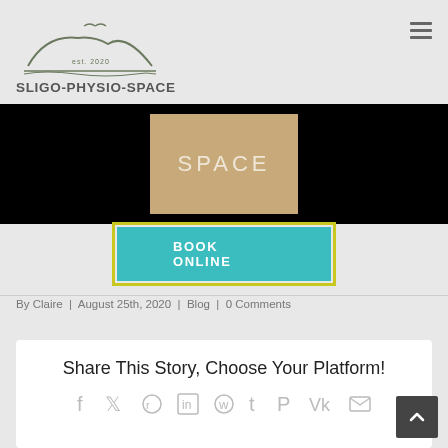[Figure (logo): Sligo Physio Space logo — stylized hills and seagull line drawing with 'est. 2020' text]
SLIGO-PHYSIO-SPACE
[Figure (photo): Hero banner image: black background with center panel showing wooden surface and 'SPACE' text in white letters]
BOOK ONLINE
By Claire | August 25th, 2020 | Blog | 0 Comments
Share This Story, Choose Your Platform!
[Figure (illustration): Social share icons: Facebook, Twitter, Reddit, LinkedIn, WhatsApp, Tumblr, Pinterest, VK, Email]